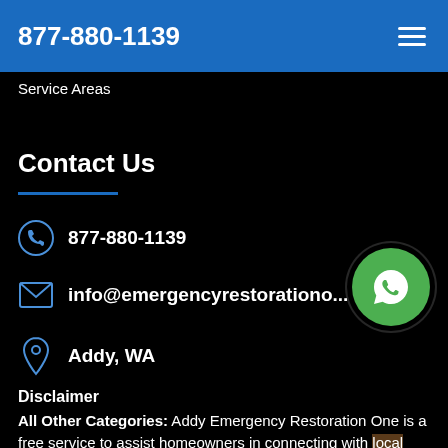877-880-1139
Service Areas
Contact Us
877-880-1139
info@emergencyrestorationo...
Addy, WA
[Figure (illustration): Green circular WhatsApp phone button]
Disclaimer
All Other Categories: Addy Emergency Restoration One is a free service to assist homeowners in connecting with local service providers. All service providers are independent and Addy Emergency Restoration One does not warrant or